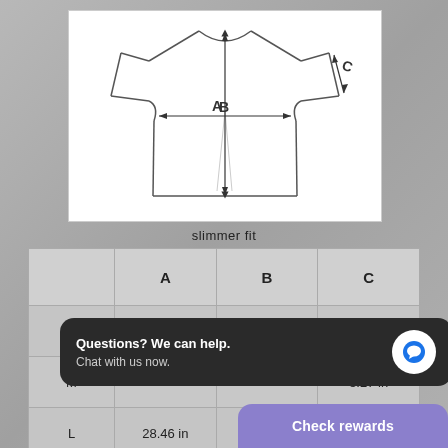[Figure (illustration): T-shirt diagram showing measurement labels A (length from collar to hem), B (chest width), and C (sleeve length) with arrows indicating measurement directions]
slimmer fit
|  | A | B | C |
| --- | --- | --- | --- |
| S | 26.50 in | 17.48 in | 7.99 in |
| M |  |  | 8.27 in |
| L | 28.46 in | 21.50 in | 8.98 in |